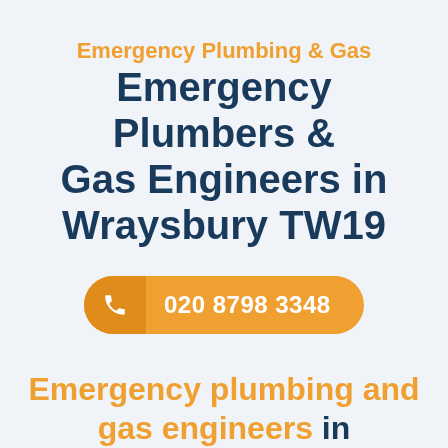Emergency Plumbing & Gas
Emergency Plumbers & Gas Engineers in Wraysbury TW19
020 8798 3348
Emergency plumbing and gas engineers in Wraysbury